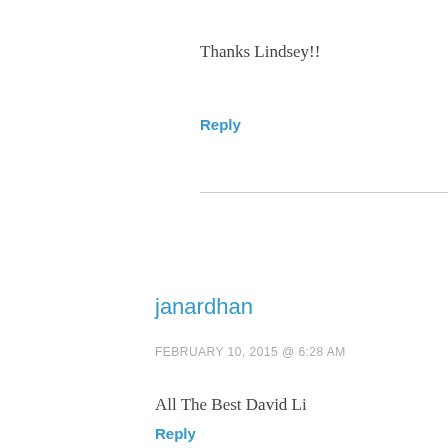Thanks Lindsey!!
Reply
janardhan
FEBRUARY 10, 2015 @ 6:28 AM
All The Best David Li
Reply